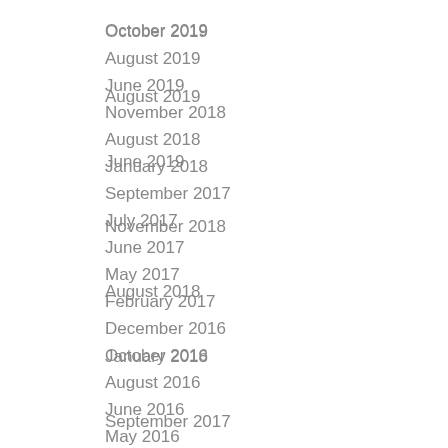October 2019
August 2019
June 2019
November 2018
August 2018
January 2018
September 2017
July 2017
June 2017
May 2017
February 2017
December 2016
October 2016
August 2016
June 2016
May 2016